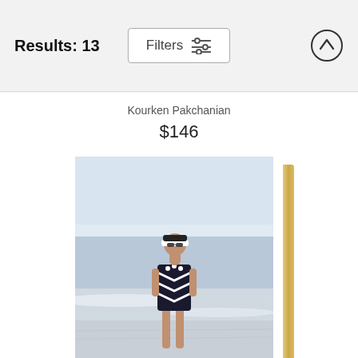Results: 13
Filters
Kourken Pakchanian
$146
[Figure (photo): A woman wearing a black and white chevron-striped swimsuit and a visor hat stands on a beach near the ocean shoreline. The photo is mounted on a wooden block/panel with a visible wood-grain edge on the right side.]